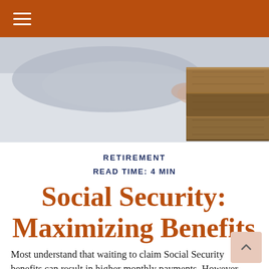[Figure (photo): Close-up photo of a hand and stacked wooden blocks, suggesting building or planning concepts related to retirement]
RETIREMENT
READ TIME: 4 MIN
Social Security: Maximizing Benefits
Most understand that waiting to claim Social Security benefits can result in higher monthly payments. However,